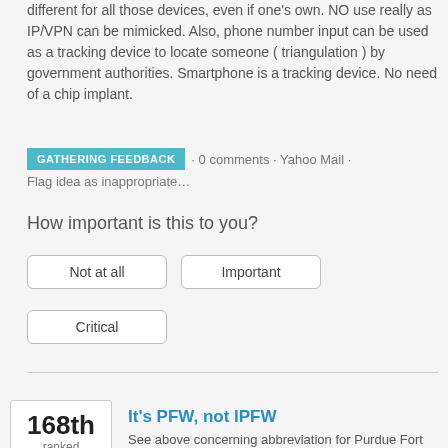different for all those devices, even if one's own. NO use really as IP/VPN can be mimicked. Also, phone number input can be used as a tracking device to locate someone ( triangulation ) by government authorities. Smartphone is a tracking device. No need of a chip implant.
GATHERING FEEDBACK · 0 comments · Yahoo Mail · Flag idea as inappropriate…
How important is this to you?
Not at all
Important
Critical
168th ranked
It's PFW, not IPFW
See above concerning abbreviation for Purdue Fort Wayne.